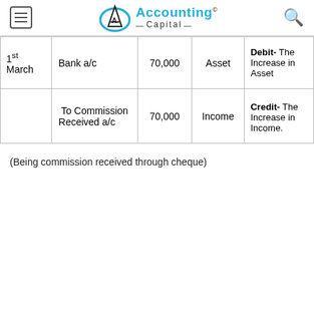Accounting Capital
| Date | Account | Amount | Type | Rule |
| --- | --- | --- | --- | --- |
| 1st March | Bank a/c | 70,000 | Asset | Debit- The Increase in Asset |
|  | To Commission Received a/c | 70,000 | Income | Credit- The Increase in Income. |
(Being commission received through cheque)